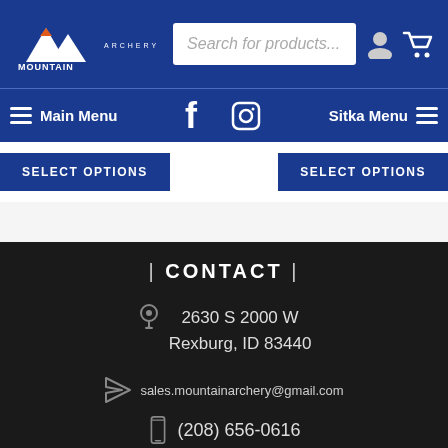[Figure (logo): Mountain Archery logo - white mountain peaks with orange accent and text MOUNTAIN ARCHERY]
Search for products...
Main Menu | Facebook | Instagram | Sitka Menu
SELECT OPTIONS   SELECT OPTIONS
| CONTACT |
2630 S 2000 W
Rexburg, ID 83440
sales.mountainarchery@gmail.com
(208) 656-0616